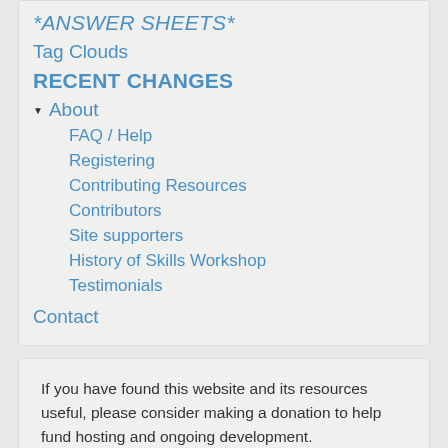*ANSWER SHEETS*
Tag Clouds
RECENT CHANGES
About
FAQ / Help
Registering
Contributing Resources
Contributors
Site supporters
History of Skills Workshop
Testimonials
Contact
If you have found this website and its resources useful, please consider making a donation to help fund hosting and ongoing development.
[Figure (other): PayPal Donate button with payment card icons (MasterCard, Maestro, Visa, Visa Electron/Amex, Direct Debit)]